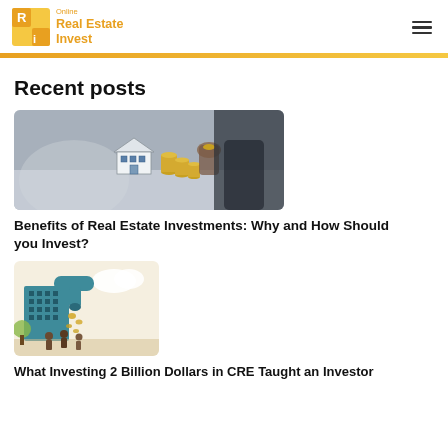Online Real Estate Invest
Recent posts
[Figure (photo): A businessman in a suit stacking coins next to a miniature house model, representing real estate investment]
Benefits of Real Estate Investments: Why and How Should you Invest?
[Figure (illustration): An illustrated graphic showing a teal building with a large faucet pouring coins, with people below, representing cash flow from commercial real estate investment]
What Investing 2 Billion Dollars in CRE Taught an Investor